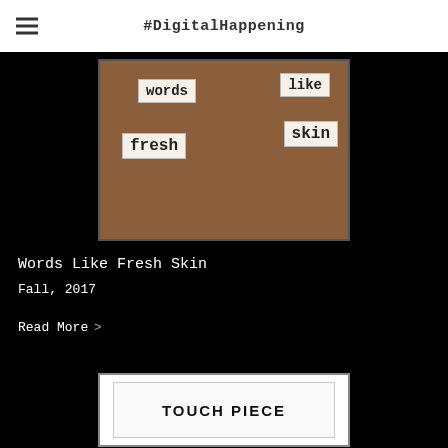#DigitalHappening
[Figure (photo): Photograph of paper word tags reading 'words', 'like', 'fresh', 'skin' arranged on a brown cardboard background]
Words Like Fresh Skin
Fall, 2017
Read More >
[Figure (photo): Image showing a white card or document with the text 'TOUCH PIECE' in bold capital letters]